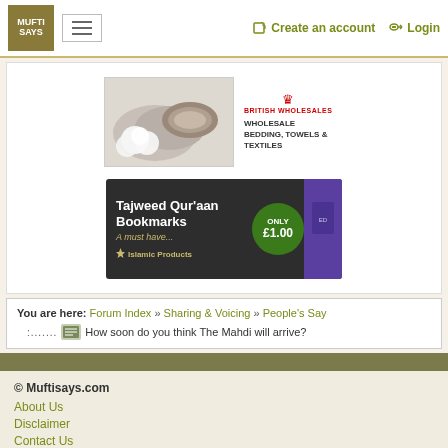MUFTI SAYS | Create an account | Login
[Figure (other): British Wholesales advertisement - wholesale bedding, towels & textiles with cotton image]
[Figure (other): Tajweed Qur'aan Bookmarks advertisement - A must have... Only £1.00 - Islamic Products]
You are here: Forum Index » Sharing & Voicing » People's Say — How soon do you think The Mahdi will arrive?
© Muftisays.com
About Us
Disclaimer
Contact Us